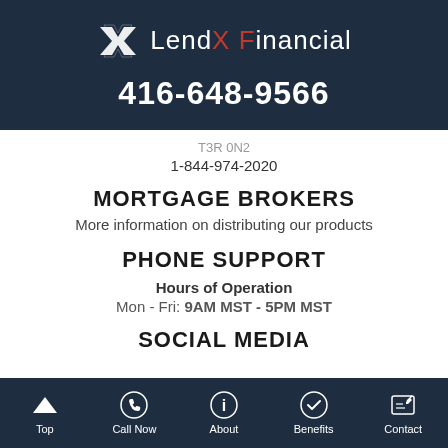[Figure (logo): LendX Financial logo with stylized X icon and text]
416-648-9566
T3R 0N2
1-844-974-2020
MORTGAGE BROKERS
More information on distributing our products
PHONE SUPPORT
Hours of Operation
Mon - Fri: 9AM MST - 5PM MST
SOCIAL MEDIA
Top | Call Now | About | Benefits | Contact